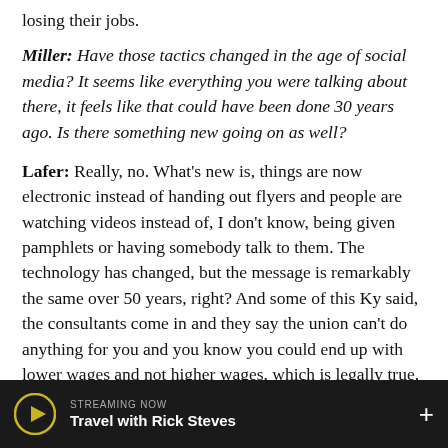losing their jobs.
Miller: Have those tactics changed in the age of social media? It seems like everything you were talking about there, it feels like that could have been done 30 years ago. Is there something new going on as well?
Lafer: Really, no. What’s new is, things are now electronic instead of handing out flyers and people are watching videos instead of, I don’t know, being given pamphlets or having somebody talk to them. The technology has changed, but the message is remarkably the same over 50 years, right? And some of this Ky said, the consultants come in and they say the union can’t do anything for you and you know you could end up with lower wages and not higher wages, which is legally true, but
STREAMING NOW
Travel with Rick Steves